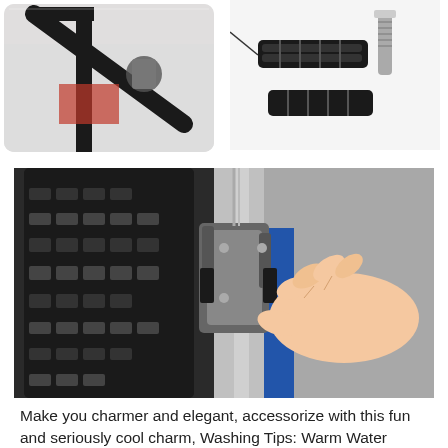[Figure (photo): Top-left: Photo of a bicycle brake mechanism on a black and red bike frame, shown in a rounded rectangle border.]
[Figure (photo): Top-right: Close-up photo of bicycle brake pads (black rubber) with a metal bolt/hardware component.]
[Figure (photo): Main large photo: A hand adjusting/squeezing the brake caliper on a mountain bike wheel with a knobby tire, blue fork visible.]
Make you charmer and elegant, accessorize with this fun and seriously cool charm, Washing Tips: Warm Water Machine Wash, You Can Pair It